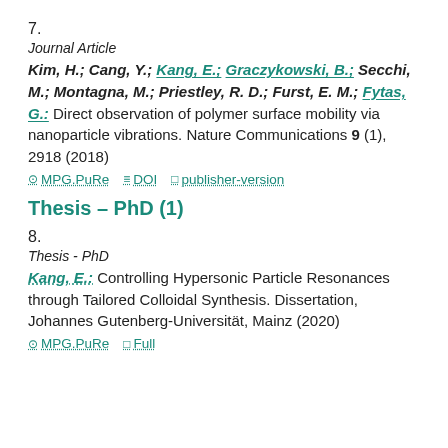7.
Journal Article
Kim, H.; Cang, Y.; Kang, E.; Graczykowski, B.; Secchi, M.; Montagna, M.; Priestley, R. D.; Furst, E. M.; Fytas, G.: Direct observation of polymer surface mobility via nanoparticle vibrations. Nature Communications 9 (1), 2918 (2018)
MPG.PuRe  DOI  publisher-version
Thesis – PhD (1)
8.
Thesis - PhD
Kang, E.: Controlling Hypersonic Particle Resonances through Tailored Colloidal Synthesis. Dissertation, Johannes Gutenberg-Universität, Mainz (2020)
MPG.PuRe  Full